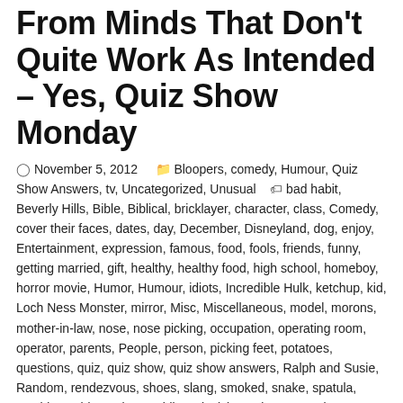From Minds That Don't Quite Work As Intended – Yes, Quiz Show Monday
November 5, 2012   Bloopers, comedy, Humour, Quiz Show Answers, tv, Uncategorized, Unusual   bad habit, Beverly Hills, Bible, Biblical, bricklayer, character, class, Comedy, cover their faces, dates, day, December, Disneyland, dog, enjoy, Entertainment, expression, famous, food, fools, friends, funny, getting married, gift, healthy, healthy food, high school, homeboy, horror movie, Humor, Humour, idiots, Incredible Hulk, ketchup, kid, Loch Ness Monster, mirror, Misc, Miscellaneous, model, morons, mother-in-law, nose, nose picking, occupation, operating room, operator, parents, People, person, picking feet, potatoes, questions, quiz, quiz show, quiz show answers, Ralph and Susie, Random, rendezvous, shoes, slang, smoked, snake, spatula, stupid, stupid people, stupidity, television, tobacco, tourist attraction, tv, twosome, unappealing habit, unexpected answers, wife, year